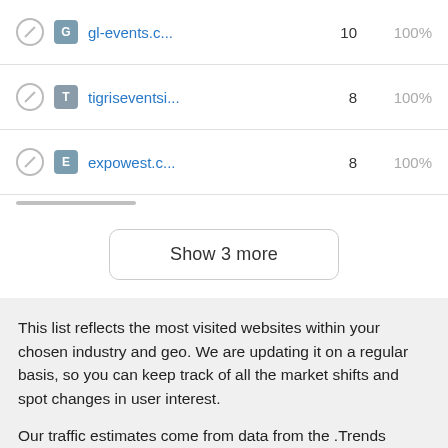|  |  | Site | Visits | % |
| --- | --- | --- | --- | --- |
|  | G | gl-events.c... | 10 | 100% |
|  | T | tigriseventsi... | 8 | 100% |
|  | E | expowest.c... | 8 | 100% |
Show 3 more
This list reflects the most visited websites within your chosen industry and geo. We are updating it on a regular basis, so you can keep track of all the market shifts and spot changes in user interest.
Our traffic estimates come from data from the .Trends platform, which grounds its insights on petabytes of that combines various proprietary and third-party data sources. We use our own AI algorithms to accumulate, clean, and process all this raw data, reflecting 200M+